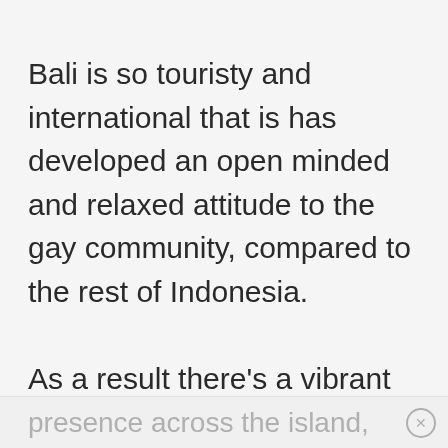Bali is so touristy and international that is has developed an open minded and relaxed attitude to the gay community, compared to the rest of Indonesia.

As a result there’s a vibrant gay
presence across the island,